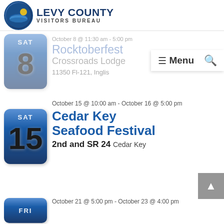[Figure (logo): Levy County Visitors Bureau logo with circular emblem and text]
October 8 @ 11:30 am - 5:00 pm
Rocktoberfest
Crossroads Lodge
11350 Fl-121, Inglis
Menu
October 15 @ 10:00 am - October 16 @ 5:00 pm
Cedar Key Seafood Festival
2nd and SR 24 Cedar Key
October 21 @ 5:00 pm - October 23 @ 4:00 pm